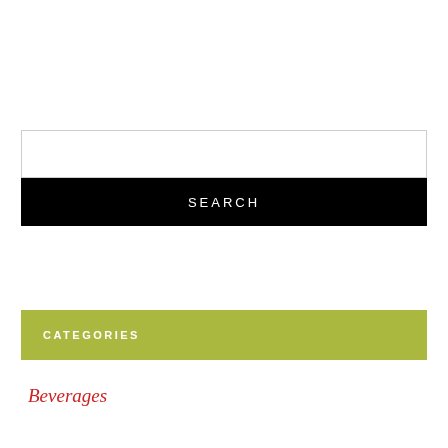[Figure (screenshot): Search widget with a white input field and a black SEARCH button below it]
CATEGORIES
Beverages